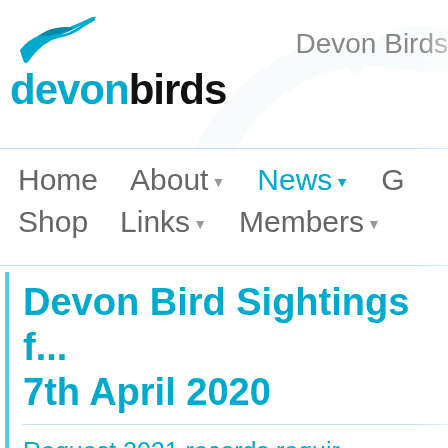[Figure (logo): Devon Birds logo with blue heron bird graphic above the text 'devonbirds' in blue and black]
Devon Birds
Home   About▾   News▾   G
Shop   Links▾   Members▾
Devon Bird Sightings f... 7th April 2020
Request 2021 records requir... information